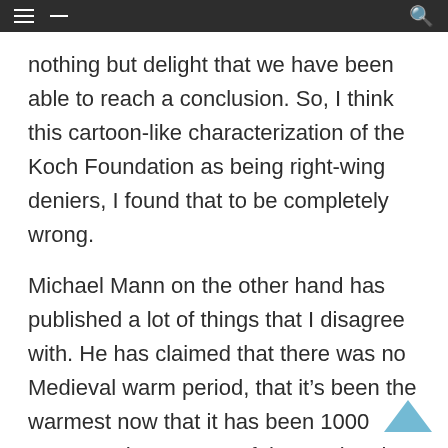[navigation bar with menu and search icons]
nothing but delight that we have been able to reach a conclusion. So, I think this cartoon-like characterization of the Koch Foundation as being right-wing deniers, I found that to be completely wrong.
Michael Mann on the other hand has published a lot of things that I disagree with. He has claimed that there was no Medieval warm period, that it’s been the warmest now that it has been 1000 years, and I was part of that National Academy study that basically demonstrated that his conclusions were wrong. So, no, he and